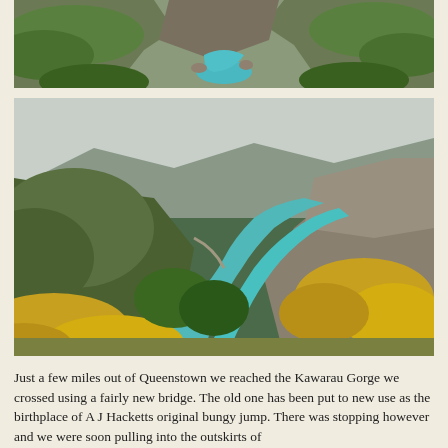[Figure (photo): Top photo: Kawarau Gorge narrow rocky canyon with turquoise river and green vegetation]
[Figure (photo): Bottom photo: Wide view of Kawarau Gorge with turquoise river, green hills, yellow flowering gorse bushes on the banks]
Just a few miles out of Queenstown we reached the Kawarau Gorge we crossed using a fairly new bridge. The old one has been put to new use as the birthplace of A J Hacketts original bungy jump. There was stopping however and we were soon pulling into the outskirts of